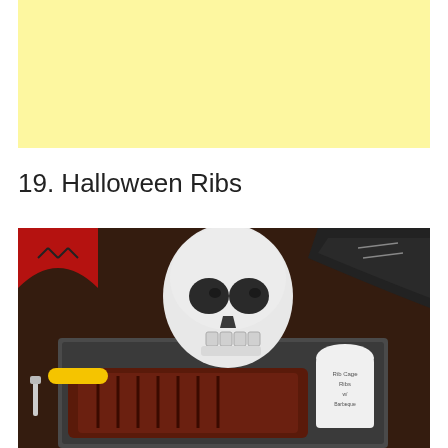[Figure (other): Yellow banner / advertisement placeholder at top of page]
19. Halloween Ribs
[Figure (photo): Overhead photo of Halloween-themed ribs in a baking tray with a decorative plastic skull on top, a tombstone food pick reading 'Rib Cage Ribs w/ Barbeque sauce', a yellow basting brush, a syringe, and red Halloween decorations on a dark wooden table.]